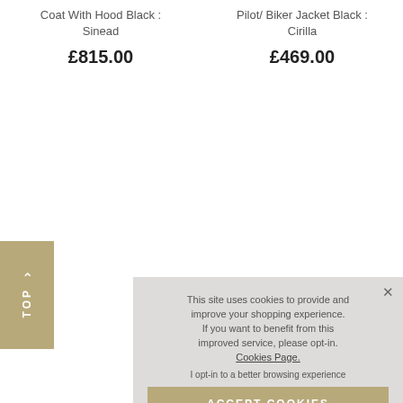Coat With Hood Black : Sinead
£815.00
Pilot/ Biker Jacket Black : Cirilla
£469.00
Toscana Longha and Belted Shea Black : Car
£889.0
This site uses cookies to provide and improve your shopping experience. If you want to benefit from this improved service, please opt-in. Cookies Page. I opt-in to a better browsing experience
ACCEPT COOKIES